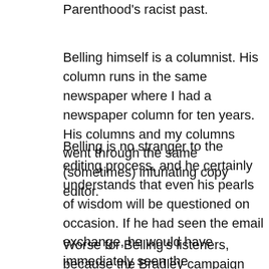Parenthood's racist past.
Belling himself is a columnist. His column runs in the same newspaper where I had a newspaper column for ten years. His columns and my columns went through the same (sometimes) infuriating copy editor.
Belling is no stranger to the editing process, and he certainly understands that even his pearls of wisdom will be questioned on occasion. If he had seen the email exchange, he would have immediately seen the ridiculousness of the claim that we were rejecting the op-ed.
Worse for Belling's listeners, because the Bradley campaign likely lied to Belling, he read a column